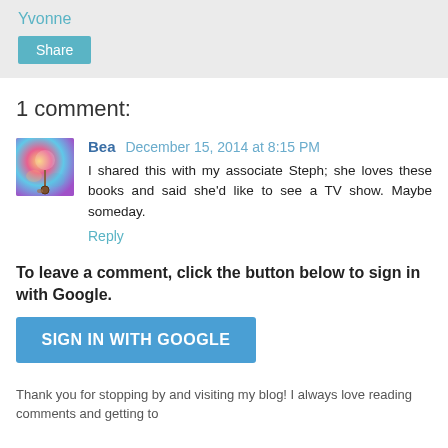Yvonne
Share
1 comment:
[Figure (photo): User avatar for Bea — colorful swirled image with pendant]
Bea  December 15, 2014 at 8:15 PM
I shared this with my associate Steph; she loves these books and said she'd like to see a TV show. Maybe someday.
Reply
To leave a comment, click the button below to sign in with Google.
SIGN IN WITH GOOGLE
Thank you for stopping by and visiting my blog! I always love reading comments and getting to